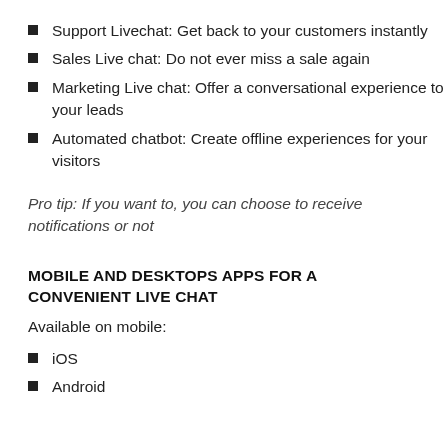Support Livechat: Get back to your customers instantly
Sales Live chat: Do not ever miss a sale again
Marketing Live chat: Offer a conversational experience to your leads
Automated chatbot: Create offline experiences for your visitors
Pro tip: If you want to, you can choose to receive notifications or not
MOBILE AND DESKTOPS APPS FOR A CONVENIENT LIVE CHAT
Available on mobile:
iOS
Android